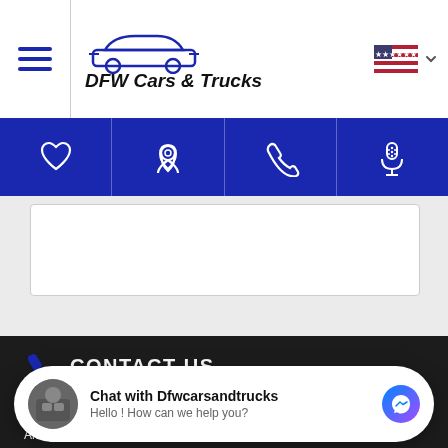DFW Cars & Trucks
[Figure (screenshot): Navigation bar with heart, location pin, phone, and microphone icons on blue background]
[Figure (screenshot): DFW Cars and Trucks logo in footer area on dark background]
CONTACT US
Arlington TX 76011
[Figure (screenshot): Facebook Messenger chat widget: Chat with Dfwcarsandtrucks - Hello ! How can we help you?]